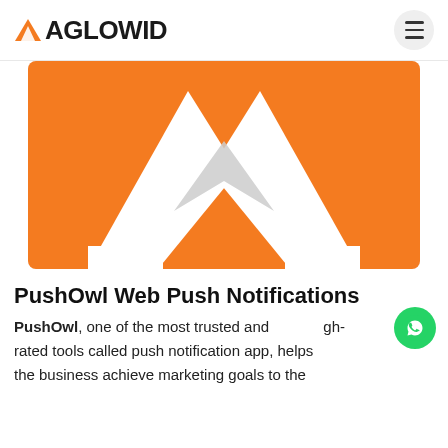AGLOWID
[Figure (logo): Aglowid logo — orange triangle icon with white stylized A shape on orange background, large hero image]
PushOwl Web Push Notifications
PushOwl, one of the most trusted and high-rated tools called push notification app, helps the business achieve marketing goals to the